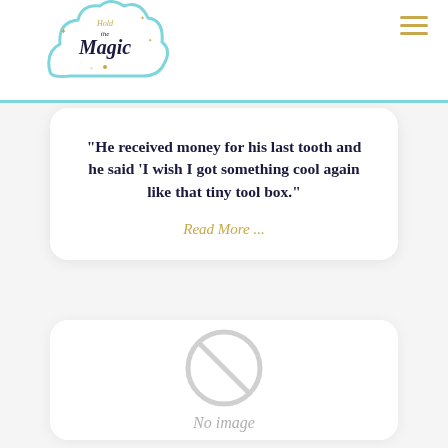[Figure (logo): Hold the Magic logo with cloud shape and cursive text in navy blue]
“He received money for his last tooth and he said 'I wish I got something cool again like that tiny tool box.”
Read More ...
[Figure (illustration): No image placeholder with circle-slash icon and 'No image' text]